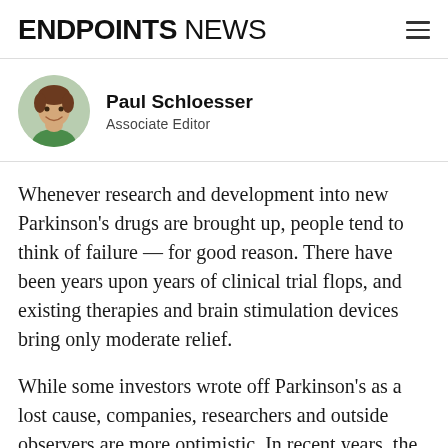ENDPOINTS NEWS
[Figure (photo): Circular headshot of Paul Schloesser, a young man with brown hair wearing a green shirt, smiling]
Paul Schloesser
Associate Editor
Whenever research and development into new Parkinson's drugs are brought up, people tend to think of failure — for good reason. There have been years upon years of clinical trial flops, and existing therapies and brain stimulation devices bring only moderate relief.
While some investors wrote off Parkinson's as a lost cause, companies, researchers and outside observers are more optimistic. In recent years, the field gained a better understanding of the genetic basis of the disease, and drugs targeting new pathways advanced into clinical trials.